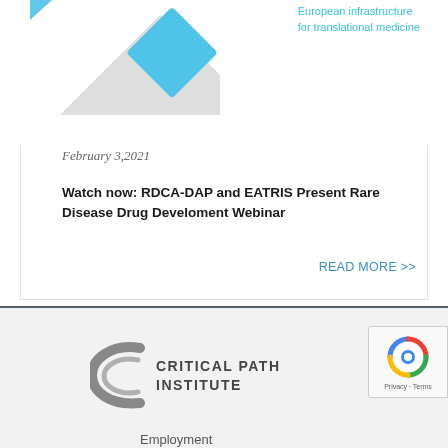[Figure (logo): EATRIS logo area with mountain/triangle shape in light gray and blue diamond shape, with cyan text 'European infrastructure for translational medicine']
February 3,2021
Watch now: RDCA-DAP and EATRIS Present Rare Disease Drug Develoment Webinar
READ MORE >>
[Figure (logo): Critical Path Institute logo with curved C shape in gray and text 'CRITICAL PATH INSTITUTE']
[Figure (logo): reCAPTCHA badge with Privacy and Terms text]
Employment